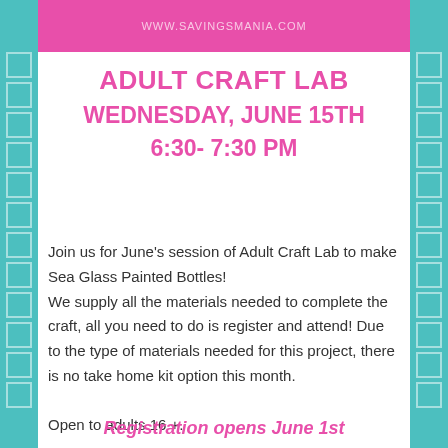WWW.SAVINGSMANIA.COM
ADULT CRAFT LAB
WEDNESDAY, JUNE 15TH
6:30- 7:30 PM
Join us for June's session of Adult Craft Lab to make Sea Glass Painted Bottles! We supply all the materials needed to complete the craft, all you need to do is register and attend! Due to the type of materials needed for this project, there is no take home kit option this month. Open to adults 16 +.
Registration opens June 1st